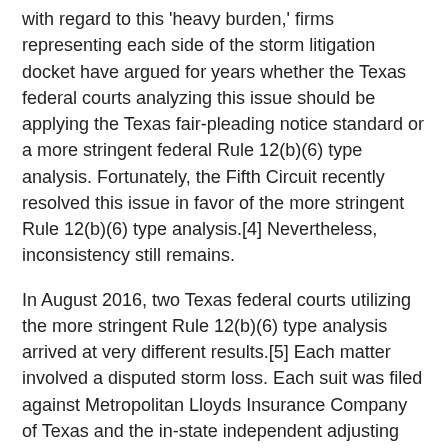with regard to this 'heavy burden,' firms representing each side of the storm litigation docket have argued for years whether the Texas federal courts analyzing this issue should be applying the Texas fair-pleading notice standard or a more stringent federal Rule 12(b)(6) type analysis. Fortunately, the Fifth Circuit recently resolved this issue in favor of the more stringent Rule 12(b)(6) type analysis.[4] Nevertheless, inconsistency still remains.
In August 2016, two Texas federal courts utilizing the more stringent Rule 12(b)(6) type analysis arrived at very different results.[5] Each matter involved a disputed storm loss. Each suit was filed against Metropolitan Lloyds Insurance Company of Texas and the in-state independent adjusting firm, Tailored Adjusting Services Inc. In each case, the lawyers representing Metropolitan removed the case based on the improper joinder of Tailored Adjusting Services Inc. However, the Northern District and the Eastern District courts arrived at complete opposite results.